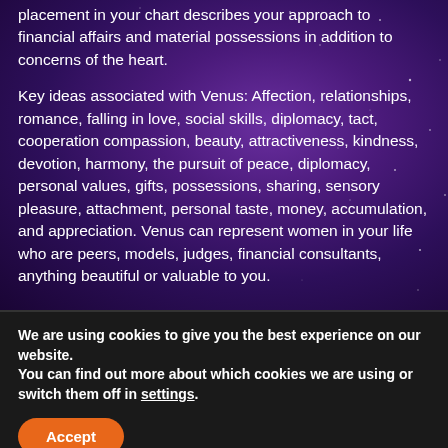placement in your chart describes your approach to financial affairs and material possessions in addition to concerns of the heart.
Key ideas associated with Venus: Affection, relationships, romance, falling in love, social skills, diplomacy, tact, cooperation compassion, beauty, attractiveness, kindness, devotion, harmony, the pursuit of peace, diplomacy, personal values, gifts, possessions, sharing, sensory pleasure, attachment, personal taste, money, accumulation, and appreciation. Venus can represent women in your life who are peers, models, judges, financial consultants, anything beautiful or valuable to you.
We are using cookies to give you the best experience on our website.
You can find out more about which cookies we are using or switch them off in settings.
Accept